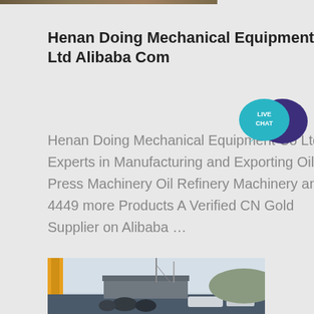[Figure (photo): Partial view of industrial machinery or equipment image at the top of the page, cropped]
Henan Doing Mechanical Equipment Co Ltd Alibaba Com
Henan Doing Mechanical Equipment Co Ltd Experts in Manufacturing and Exporting Oil Press Machinery Oil Refinery Machinery and 4449 more Products A Verified CN Gold Supplier on Alibaba …
[Figure (other): Live Chat widget with teal speech bubble and dark purple speech bubble showing LIVE CHAT text]
[Figure (photo): Industrial outdoor scene with yellow crane/machinery on left, industrial buildings and equipment in background, overcast sky]